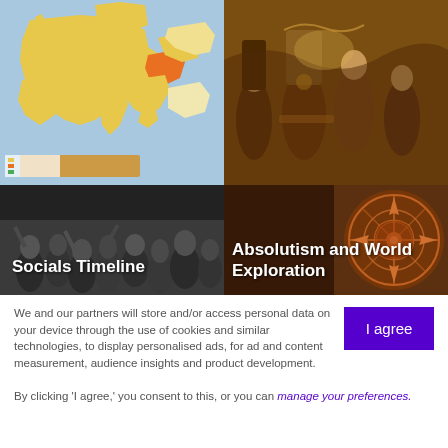[Figure (map): Map of Europe showing countries in yellow, orange, and green colors on a blue background — a political/historical map of Europe]
[Figure (illustration): Historical painting showing a royal or courtly scene with elaborately dressed figures in a richly decorated setting]
[Figure (photo): Black and white historical photograph showing a crowd of people, overlaid with text 'Socials Timeline']
[Figure (photo): Photo of a compass rose decorative element with reddish-brown tones, overlaid with text 'Absolutism and World Exploration']
We and our partners will store and/or access personal data on your device through the use of cookies and similar technologies, to display personalised ads, for ad and content measurement, audience insights and product development.
By clicking 'I agree,' you consent to this, or you can manage your preferences.